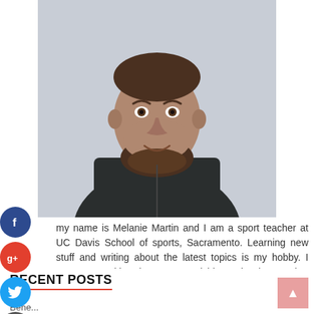[Figure (photo): Professional headshot of a smiling man with a beard wearing a dark grey zip-up sweater over a white collared shirt, against a light grey/white background.]
my name is Melanie Martin and I am a sport teacher at UC Davis School of sports, Sacramento. Learning new stuff and writing about the latest topics is my hobby. I came up with Blue Water Fishing Classic so that knowledge can be shared without any limitations. Stay in touch for more updates.
RECENT POSTS
Bene...